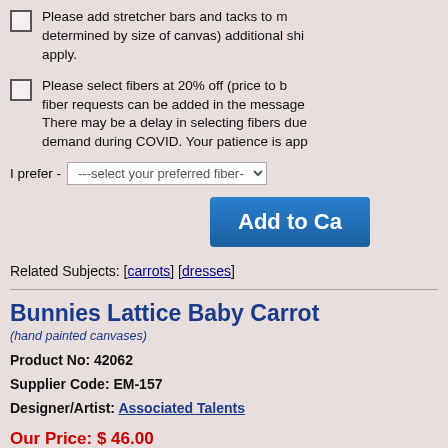Please add stretcher bars and tacks to my order (price determined by size of canvas) additional shipping charges may apply.
Please select fibers at 20% off (price to be determined). Specific fiber requests can be added in the message section during checkout. There may be a delay in selecting fibers due to the high demand during COVID. Your patience is appreciated.
I prefer - ---select your preferred fiber---
[Figure (other): Add to Cart button (blue)]
Related Subjects: [carrots] [dresses]
Bunnies Lattice Baby Carrot
(hand painted canvases)
Product No: 42062
Supplier Code: EM-157
Designer/Artist: Associated Talents
Our Price: $ 46.00